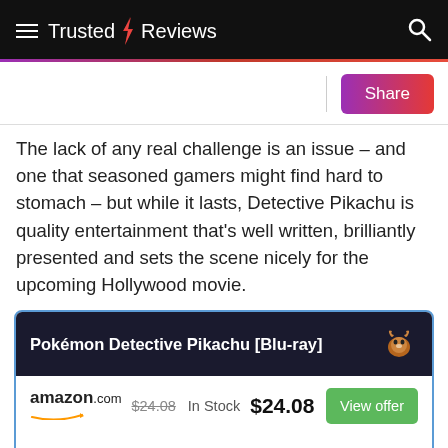Trusted Reviews
The lack of any real challenge is an issue – and one that seasoned gamers might find hard to stomach – but while it lasts, Detective Pikachu is quality entertainment that's well written, brilliantly presented and sets the scene nicely for the upcoming Hollywood movie.
| Pokémon Detective Pikachu [Blu-ray] |  |  |
| --- | --- | --- |
| amazon.com | $24.08 (strikethrough) | In Stock | $24.08 | View offer |